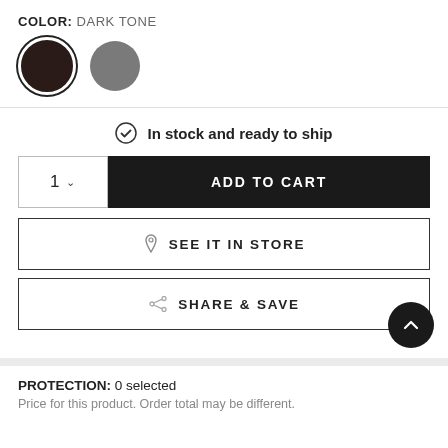COLOR: DARK TONE
[Figure (illustration): Two color swatches: a dark brown/black circle with a selection ring, and a medium gray circle without ring]
In stock and ready to ship
1  ADD TO CART
SEE IT IN STORE
SHARE & SAVE
PROTECTION: 0 selected
Price for this product. Order total may be different.